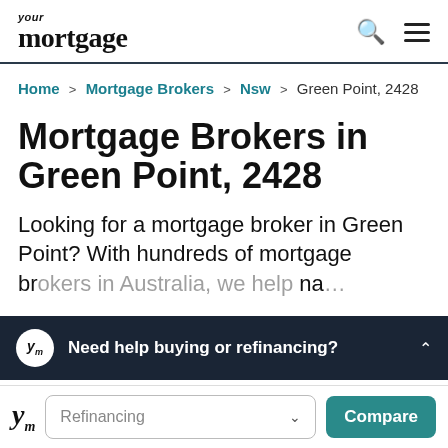your mortgage
Home > Mortgage Brokers > Nsw > Green Point, 2428
Mortgage Brokers in Green Point, 2428
Looking for a mortgage broker in Green Point? With hundreds of mortgage brokers in Australia, we help na... brokers in Green Point. Choose...
Need help buying or refinancing?
Refinancing  Compare